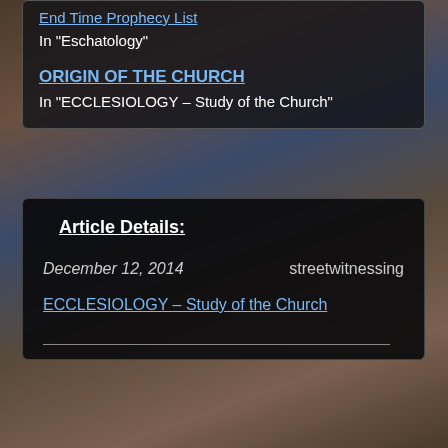End Time Prophecy List
In "Eschatology"
ORIGIN OF THE CHURCH
In "ECCLESIOLOGY – Study of the Church"
Article Details:
December 12, 2014
streetwitnessing
ECCLESIOLOGY – Study of the Church